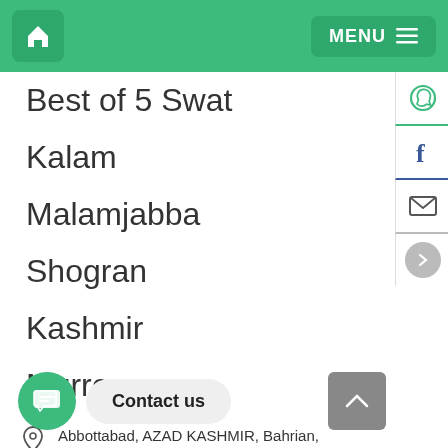Home | MENU
Best of 5 Swat
Kalam
Malamjabba
Shogran
Kashmir
Murree
Abbottabad, AZAD KASHMIR, Bahrian, Balakot, Chakdara, Cham Waterfall, Harnoi Lake Abbottabad, ilyasi GHAN, Kalam, Katlang Mountains, Keran valley, Khanpur Dam, Kiwai, Kundal Shahi